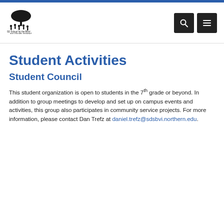[Figure (logo): SD School for the Blind and Visually Impaired logo with tree and people silhouettes]
Student Activities
Student Council
This student organization is open to students in the 7th grade or beyond. In addition to group meetings to develop and set up on campus events and activities, this group also participates in community service projects. For more information, please contact Dan Trefz at daniel.trefz@sdsbvi.northern.edu.